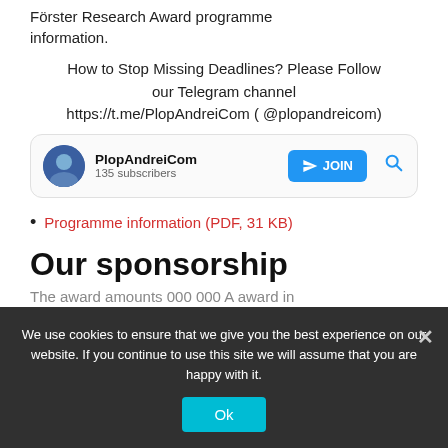Förster Research Award programme information.
How to Stop Missing Deadlines? Please Follow our Telegram channel https://t.me/PlopAndreiCom ( @plopandreicom)
[Figure (screenshot): Telegram channel widget showing PlopAndreiCom with 135 subscribers and a JOIN button]
Programme information (PDF, 31 KB)
Our sponsorship
The award amounts 000 000 A award in
We use cookies to ensure that we give you the best experience on our website. If you continue to use this site we will assume that you are happy with it.